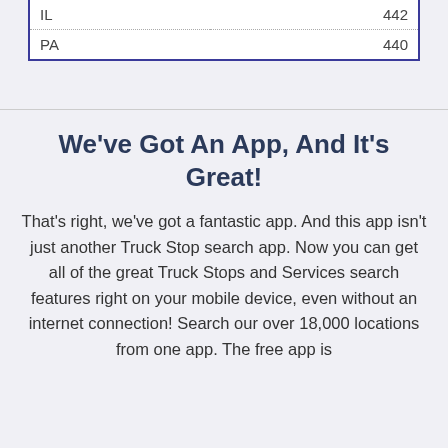| IL | 442 |
| PA | 440 |
We've Got An App, And It's Great!
That's right, we've got a fantastic app. And this app isn't just another Truck Stop search app. Now you can get all of the great Truck Stops and Services search features right on your mobile device, even without an internet connection! Search our over 18,000 locations from one app. The free app is